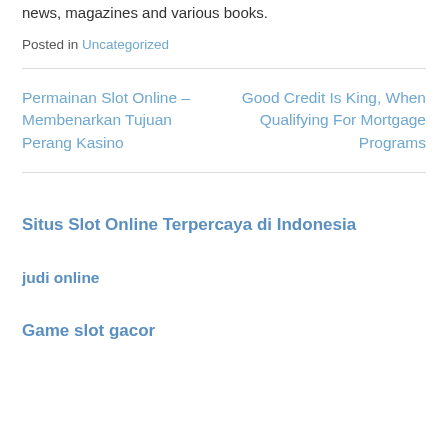news, magazines and various books.
Posted in Uncategorized
Permainan Slot Online – Membenarkan Tujuan Perang Kasino
Good Credit Is King, When Qualifying For Mortgage Programs
Situs Slot Online Terpercaya di Indonesia
judi online
Game slot gacor